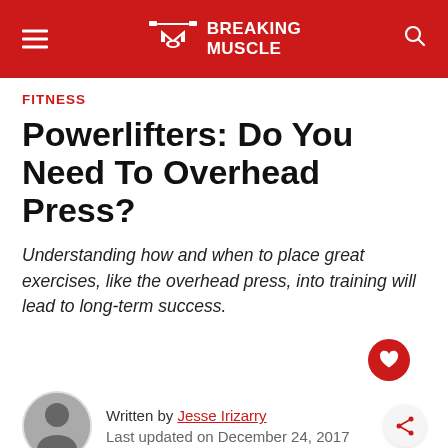Breaking Muscle
FITNESS
Powerlifters: Do You Need To Overhead Press?
Understanding how and when to place great exercises, like the overhead press, into training will lead to long-term success.
Written by Jesse Irizarry
Last updated on December 24, 2017
As a powerlifting coach, I frequently get asked: